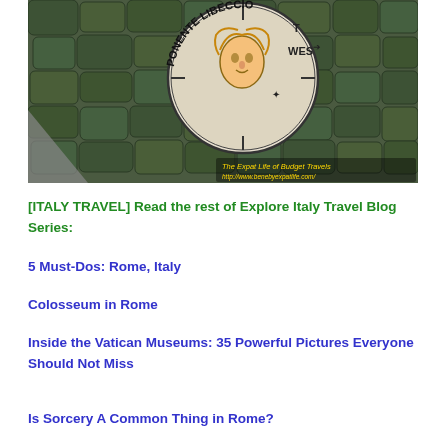[Figure (photo): A circular stone compass rose or decorative medallion set in cobblestones, with a face depicted at the center and text reading 'PONENTE LIBECCIO' around the circumference, with a watermark reading 'The Expat Life of Budget Travels / http://www.benebyexpatlife.com/']
[ITALY TRAVEL] Read the rest of Explore Italy Travel Blog Series:
5 Must-Dos: Rome, Italy
Colosseum in Rome
Inside the Vatican Museums: 35 Powerful Pictures Everyone Should Not Miss
Is Sorcery A Common Thing in Rome?